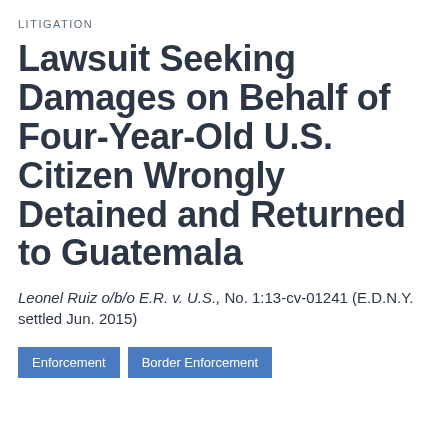LITIGATION
Lawsuit Seeking Damages on Behalf of Four-Year-Old U.S. Citizen Wrongly Detained and Returned to Guatemala
Leonel Ruiz o/b/o E.R. v. U.S., No. 1:13-cv-01241 (E.D.N.Y. settled Jun. 2015)
Enforcement
Border Enforcement